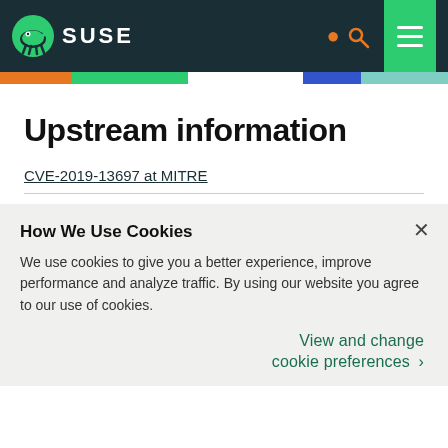SUSE
Upstream information
CVE-2019-13697 at MITRE
How We Use Cookies
We use cookies to give you a better experience, improve performance and analyze traffic. By using our website you agree to our use of cookies.
View and change cookie preferences >